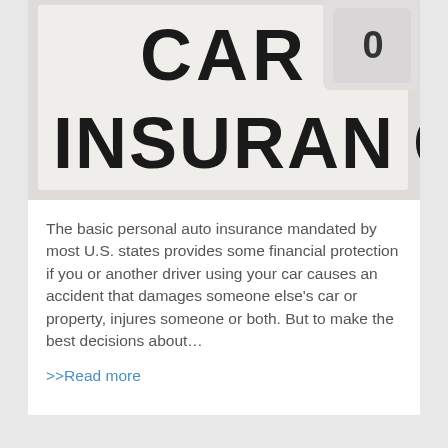[Figure (photo): Close-up photograph of tiles spelling out CAR INSURANCE with a key fob visible, black bold letters on white background]
The basic personal auto insurance mandated by most U.S. states provides some financial protection if you or another driver using your car causes an accident that damages someone else's car or property, injures someone or both. But to make the best decisions about…
>>Read more
[Figure (other): White card area with a teal/blue scroll-to-top button with an upward chevron arrow in the bottom right corner]
[Figure (photo): Partial view of a winter/snowy scene image at the bottom of the page with light blue tones]